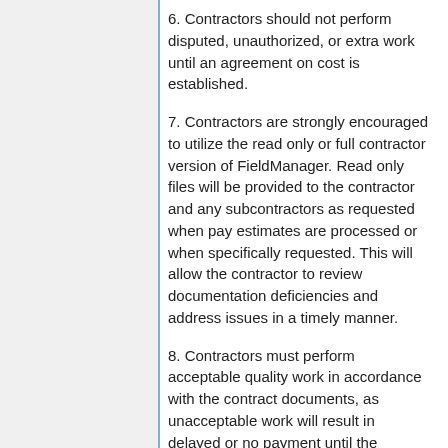6. Contractors should not perform disputed, unauthorized, or extra work until an agreement on cost is established.
7. Contractors are strongly encouraged to utilize the read only or full contractor version of FieldManager. Read only files will be provided to the contractor and any subcontractors as requested when pay estimates are processed or when specifically requested. This will allow the contractor to review documentation deficiencies and address issues in a timely manner.
8. Contractors must perform acceptable quality work in accordance with the contract documents, as unacceptable work will result in delayed or no payment until the problem is addressed.